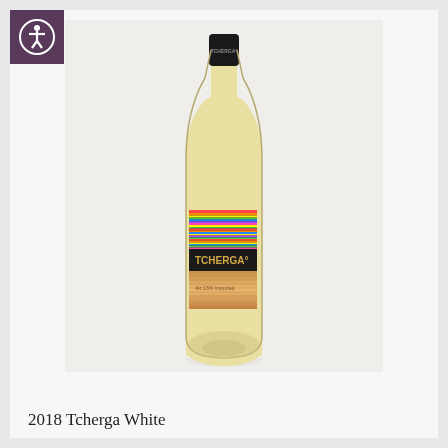[Figure (photo): A bottle of 2018 Tcherga White wine. The bottle has a black capsule top with 'TCHERGA' text, a colorful horizontal striped label in rainbow colors, a dark band with 'TCHERGA°' in gold text, and a copper/gold lower label section. The bottle contains pale white wine.]
2018 Tcherga White